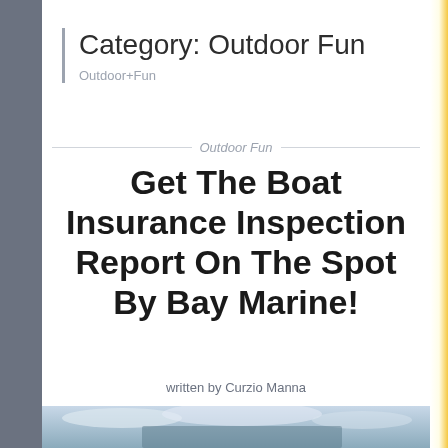Category: Outdoor Fun
Outdoor+Fun
Outdoor Fun
Get The Boat Insurance Inspection Report On The Spot By Bay Marine!
written by Curzio Manna
[Figure (photo): Partial view of a boat on water, sky and clouds visible, bottom strip of the page]